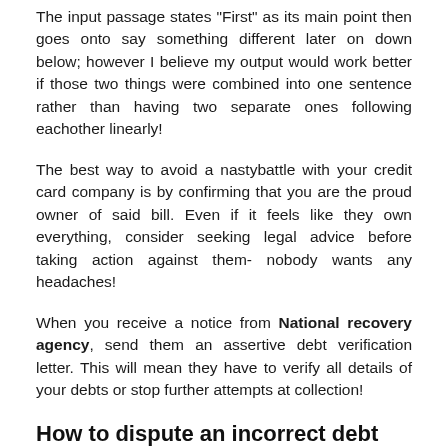The input passage states "First" as its main point then goes onto say something different later on down below; however I believe my output would work better if those two things were combined into one sentence rather than having two separate ones following eachother linearly!
The best way to avoid a nastybattle with your credit card company is by confirming that you are the proud owner of said bill. Even if it feels like they own everything, consider seeking legal advice before taking action against them- nobody wants any headaches!
When you receive a notice from National recovery agency, send them an assertive debt verification letter. This will mean they have to verify all details of your debts or stop further attempts at collection!
How to dispute an incorrect debt with